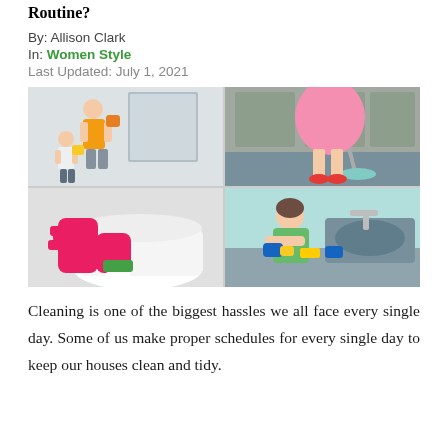Routine?
By: Allison Clark
In: Women Style
Last Updated: July 1, 2021
[Figure (photo): Four-panel collage of cleaning scenes: top-left shows a woman and child cleaning a mirror, top-right shows a woman in a pink skirt mopping a floor, bottom-left shows pink rubber gloves scrubbing a toilet/sink, bottom-right shows a woman in a green apron cleaning a countertop with blue gloves.]
Cleaning is one of the biggest hassles we all face every single day. Some of us make proper schedules for every single day to keep our houses clean and tidy.